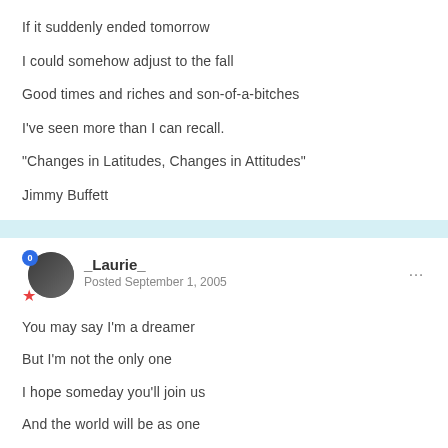If it suddenly ended tomorrow
I could somehow adjust to the fall
Good times and riches and son-of-a-bitches
I've seen more than I can recall.
"Changes in Latitudes, Changes in Attitudes"
Jimmy Buffett
_Laurie_
Posted September 1, 2005
You may say I'm a dreamer
But I'm not the only one
I hope someday you'll join us
And the world will be as one